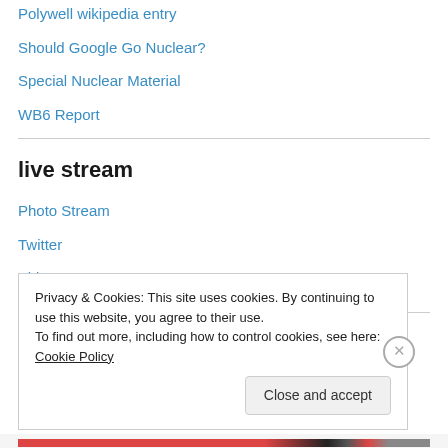Polywell wikipedia entry
Should Google Go Nuclear?
Special Nuclear Material
WB6 Report
live stream
Photo Stream
Twitter
Video Stream
Privacy & Cookies: This site uses cookies. By continuing to use this website, you agree to their use.
To find out more, including how to control cookies, see here: Cookie Policy
Close and accept